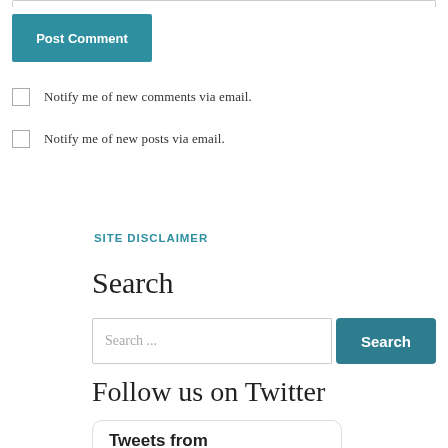Post Comment
Notify me of new comments via email.
Notify me of new posts via email.
SITE DISCLAIMER
Search
Search ...
Follow us on Twitter
Tweets from